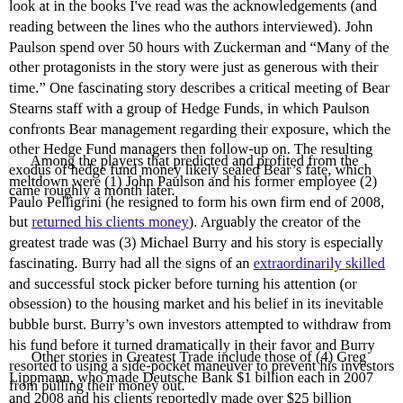look at in the books I've read was the acknowledgements (and reading between the lines who the authors interviewed). John Paulson spend over 50 hours with Zuckerman and "Many of the other protagonists in the story were just as generous with their time." One fascinating story describes a critical meeting of Bear Stearns staff with a group of Hedge Funds, in which Paulson confronts Bear management regarding their exposure, which the other Hedge Fund managers then follow-up on. The resulting exodus of hedge fund money likely sealed Bear's fate, which came roughly a month later.
Among the players that predicted and profited from the meltdown were (1) John Paulson and his former employee (2) Paulo Pelligrini (he resigned to form his own firm end of 2008, but returned his clients money). Arguably the creator of the greatest trade was (3) Michael Burry and his story is especially fascinating. Burry had all the signs of an extraordinarily skilled and successful stock picker before turning his attention (or obsession) to the housing market and his belief in its inevitable bubble burst. Burry's own investors attempted to withdraw from his fund before it turned dramatically in their favor and Burry resorted to using a side-pocket maneuver to prevent his investors from pulling their money out.
Other stories in Greatest Trade include those of (4) Greg Lippmann, who made Deutsche Bank $1 billion each in 2007 and 2008 and his clients reportedly made over $25 billion (Lippmann apparently moved on in 2010). Another